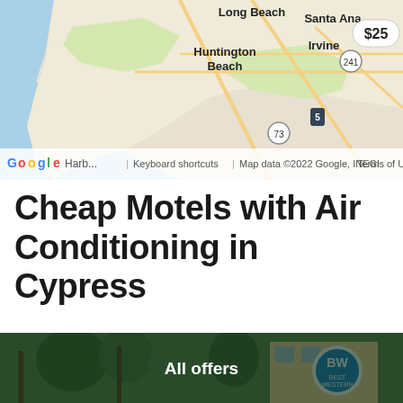[Figure (map): Google Maps showing coastal Southern California area with Long Beach, Santa Ana, Huntington Beach, Irvine. A price label of $25 is shown. Map data ©2022 Google, INEGI. Shows route 241, 5, 73.]
Cheap Motels with Air Conditioning in Cypress
[Figure (photo): Hotel exterior photo with palm trees and a Best Western logo visible. Dark green overlay with 'All offers' text centered.]